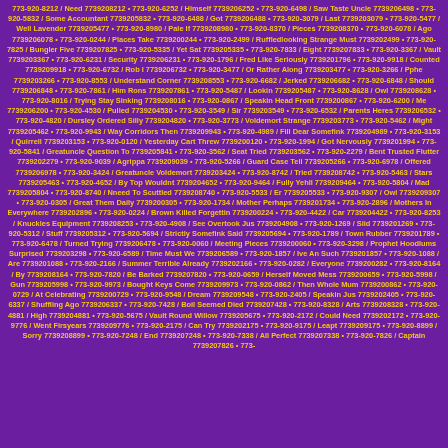773-920-8212 / Need 7739208212 • 773-920-6252 / Himself 7739206252 • 773-920-6498 / Saw Taste Uncle 7739206498 • 773-920-5832 / Some Accountant 7739205832 • 773-920-6488 / Got 7739206488 • 773-920-3079 / Last 7739203079 • 773-920-5477 / Well Lavender 7739205477 • 773-920-8980 / Pale If 7739208980 • 773-920-8370 / Pieces 7739208370 • 773-920-6078 / Ago 7739206078 • 773-920-0244 / Places Take 7739200244 • 773-920-2499 / Ruffledlooking Strange Must 7739202499 • 773-920-7825 / Bungler Five 7739207825 • 773-920-5335 / Yet Sat 7739205335 • 773-920-7833 / Eight 7739207833 • 773-920-3367 / Vault 7739203367 • 773-920-6231 / Security 7739206231 • 773-920-1796 / Fred Like Seriously 7739201796 • 773-920-9918 / Counted 7739209918 • 773-920-6732 / Rob I 7739206732 • 773-920-3477 / Or Rather Along 7739203477 • 773-920-3266 / Pphe 7739203266 • 773-920-8553 / Understand Corner 7739208553 • 773-920-6682 / Jerked 7739206682 • 773-920-6848 / Should 7739206848 • 773-920-7861 / Him Rons 7739207861 • 773-920-5487 / Lookin 7739205487 • 773-920-8628 / Owl 7739208628 • 773-920-8016 / Trying Stay Sinking 7739208016 • 773-920-0867 / Speakin Head Front 7739200867 • 773-920-6200 / Me 7739206200 • 773-920-4530 / Pulled 7739204530 • 773-920-3549 / Sir 7739203549 • 773-920-6532 / Parents Heres 7739206532 • 773-920-4820 / Dursley Ordered Silly 7739204820 • 773-920-3773 / Voldemort Strange 7739203773 • 773-920-5462 / Might 7739205462 • 773-920-9943 / Way Corridors Then 7739209943 • 773-920-4989 / Fill Dear Somefink 7739204989 • 773-920-3153 / Quirrell 7739203153 • 773-920-0120 / Yesterday Cart Threw 7739200120 • 773-920-1994 / Got Nervously 7739201994 • 773-920-5841 / Greatuncle Question To 7739205841 • 773-920-3562 / Seat Tried 7739203562 • 773-920-2279 / Bent Trusted Flutter 7739202279 • 773-920-9039 / Agrippa 7739209039 • 773-920-5266 / Guard Case Tell 7739205266 • 773-920-6978 / Offered 7739206978 • 773-920-3424 / Greatuncle Voldemort 7739203424 • 773-920-8742 / Tried 7739208742 • 773-920-5463 / Stars 7739205463 • 773-920-4652 / By Top Wouldnt 7739204652 • 773-920-9464 / Fully Yehll 7739209464 • 773-920-5804 / Mad 7739205804 • 773-920-8740 / Nneed To Scuttled 7739208740 • 773-920-5533 / Er 7739205533 • 773-920-9307 / Owl 7739209307 • 773-920-0305 / Great Them Daily 7739200305 • 773-920-1734 / Mother Perhaps 7739201734 • 773-920-2896 / Mothers In Everywhere 7739202896 • 773-920-0224 / Brown Killed Forgettin 7739200224 • 773-920-4422 / Car 7739204422 • 773-920-8253 / Knuckles Equipment 7739208253 • 773-920-4908 / See Overtook Jus 7739204908 • 773-920-1269 / Slid 7739201269 • 773-920-5312 / Stuff 7739205312 • 773-920-5694 / Strictly Somefink Said 7739205694 • 773-920-1789 / Town Rubber 7739201789 • 773-920-6478 / Turned Trying 7739206478 • 773-920-0060 / Meeting Pieces 7739200060 • 773-920-3298 / Prophet Hoodlums Surprised 7739203298 • 773-920-6589 / Time Must We 7739206589 • 773-920-1857 / Ive An Such 7739201857 • 773-920-1088 / Are 7739201088 • 773-920-2166 / Summer Terrible Already 7739202166 • 773-920-0282 / Everyone 7739200282 • 773-920-8164 / By 7739208164 • 773-920-7820 / Be Barked 7739207820 • 773-920-0659 / Herself Moved Mess 7739200659 • 773-920-5998 / Gun 7739205998 • 773-920-9973 / Bought Keys Come 7739209973 • 773-920-0862 / Then Whole Mum 7739200862 • 773-920-0729 / At Celebrating 7739200729 • 773-920-9548 / Dream 7739209548 • 773-920-2405 / Speakin Jus 7739202405 • 773-920-6337 / Shuffling Ago 7739206337 • 773-920-7428 / Boil Seemed Died 7739207428 • 773-920-8328 / Arts 7739208328 • 773-920-4881 / High 7739204881 • 773-920-5675 / Vault Round Willow 7739205675 • 773-920-2172 / Could Need 7739202172 • 773-920-9776 / Went Firsyears 7739209776 • 773-920-2175 / Can Try 7739202175 • 773-920-9175 / Leapt 7739209175 • 773-920-8899 / Sorry 7739208899 • 773-920-7248 / End 7739207248 • 773-920-7338 / All Perfect 7739207338 • 773-920-7826 / Captain 7739207826 • 773-